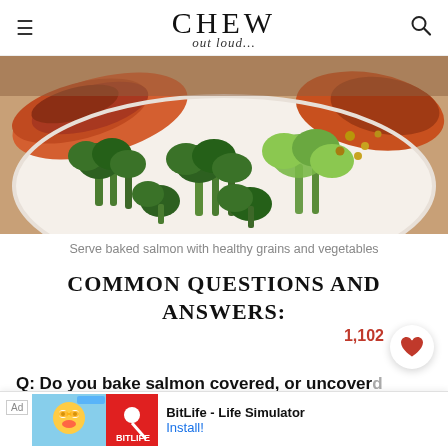CHEW out loud...
[Figure (photo): Close-up photo of baked salmon with broccoli and healthy grains on a white plate]
Serve baked salmon with healthy grains and vegetables
COMMON QUESTIONS AND ANSWERS:
Q: Do you bake salmon covered, or uncovered?
A: In order to achieve good caramelization on top of the... it, it will m...
[Figure (screenshot): Ad banner for BitLife - Life Simulator game with Install button]